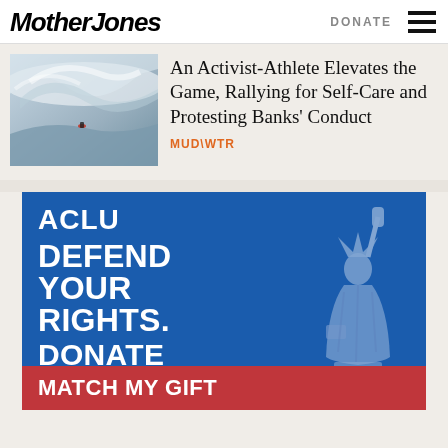Mother Jones | DONATE
[Figure (photo): Surfer on a large wave, aerial view]
An Activist-Athlete Elevates the Game, Rallying for Self-Care and Protesting Banks' Conduct
MUD\WTR
[Figure (illustration): ACLU advertisement: DEFEND YOUR RIGHTS. DONATE TODAY. MATCH MY GIFT. With Statue of Liberty illustration on blue background.]